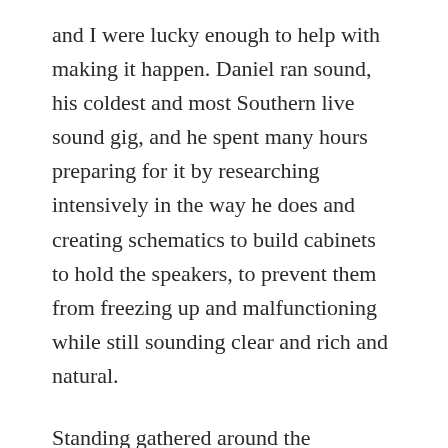and I were lucky enough to help with making it happen. Daniel ran sound, his coldest and most Southern live sound gig, and he spent many hours preparing for it by researching intensively in the way he does and creating schematics to build cabinets to hold the speakers, to prevent them from freezing up and malfunctioning while still sounding clear and rich and natural.
Standing gathered around the ceremonial pole, with the shrill, hollow protest of footsteps on snow amplified through the sound system, Prime Minister Jens Stoltenberg spoke. After planting Norway's flag at the Pole, he honored Roald Amundsen and his achievement; Robert Falcon Scott who gave the ultimate sacrifice for discovery; Norway as a brand new country in 1911 (having gained independence in 1905); and the men and women who came to celebrate and honor this important year on